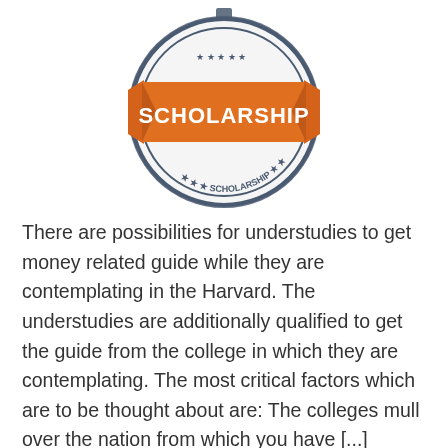[Figure (illustration): A circular stamp/badge graphic with an orange banner across the center reading 'SCHOLARSHIP' in bold white text. The circular border and inner ring are dark navy/slate blue with gear-like edges and stars, and the text 'SCHOLARSHIP' also appears curved along the bottom of the circle.]
There are possibilities for understudies to get money related guide while they are contemplating in the Harvard. The understudies are additionally qualified to get the guide from the college in which they are contemplating. The most critical factors which are to be thought about are: The colleges mull over the nation from which you have [...]